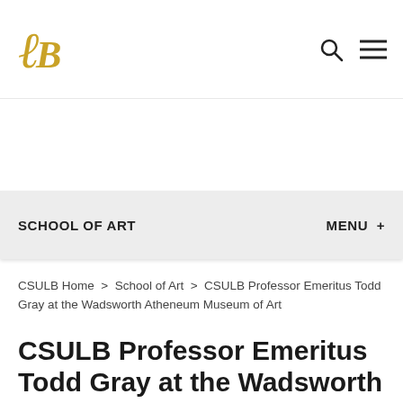LB [logo] | Search | Menu
SCHOOL OF ART | MENU +
CSULB Home > School of Art > CSULB Professor Emeritus Todd Gray at the Wadsworth Atheneum Museum of Art
CSULB Professor Emeritus Todd Gray at the Wadsworth Atheneum Museum of Art